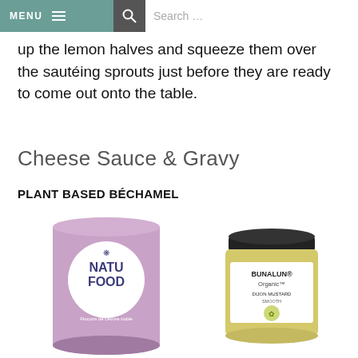MENU  [hamburger icon]  [search icon]  Search …
up the lemon halves and squeeze them over the sautéing sprouts just before they are ready to come out onto the table.
Cheese Sauce & Gravy
PLANT BASED BÉCHAMEL
[Figure (photo): Purple cylindrical tin of NATU FOOD Edelgistvlokken (nutritional yeast flakes), Flocons de Levure noble]
[Figure (photo): Glass jar of BUNALUN Organic Dijon Mustard Smooth with black lid and yellow mustard inside]